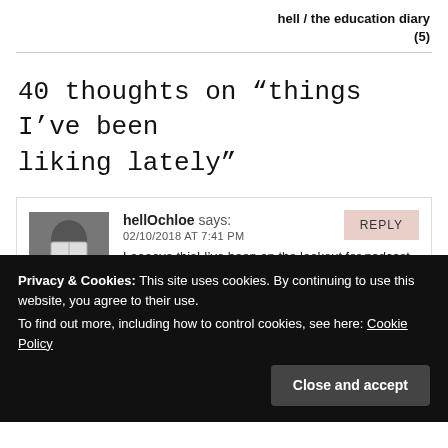hell / the education diary
(5)
40 thoughts on “things I’ve been liking lately”
hellOchloe says:
02/10/2018 AT 7:41 PM
Loooove this! I’ve been on the lookout for podcast recommendations actually (I want to start
Privacy & Cookies: This site uses cookies. By continuing to use this website, you agree to their use.
To find out more, including how to control cookies, see here: Cookie Policy
Close and accept
going to absolutely love it though, it’s right up my